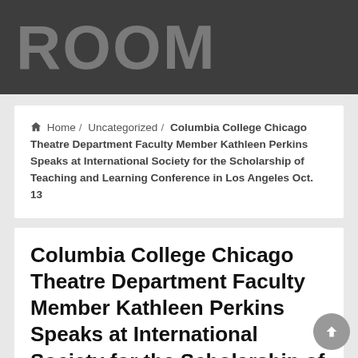ROOM
Home / Uncategorized / Columbia College Chicago Theatre Department Faculty Member Kathleen Perkins Speaks at International Society for the Scholarship of Teaching and Learning Conference in Los Angeles Oct. 13
Columbia College Chicago Theatre Department Faculty Member Kathleen Perkins Speaks at International Society for the Scholarship of Teaching